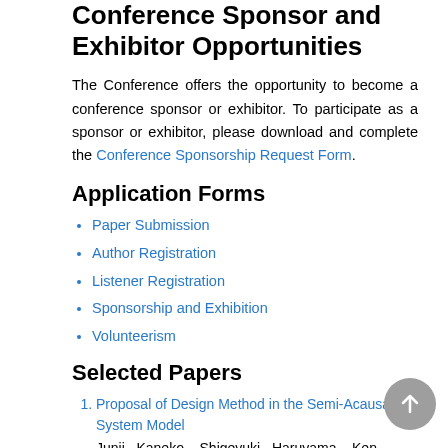Conference Sponsor and Exhibitor Opportunities
The Conference offers the opportunity to become a conference sponsor or exhibitor. To participate as a sponsor or exhibitor, please download and complete the Conference Sponsorship Request Form.
Application Forms
Paper Submission
Author Registration
Listener Registration
Sponsorship and Exhibition
Volunteerism
Selected Papers
Proposal of Design Method in the Semi-Acausal System Model
Junji Kaneko, Shigeyuki Haruyama, Ken